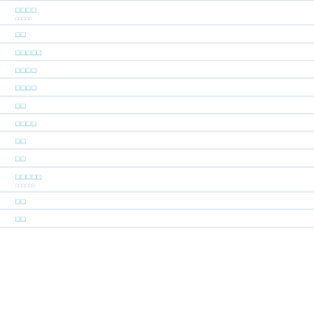□□□□
□□
□□□□□
□□□□
□□□□
□□
□□□□
□□
□□
□□□□□
□□
□□